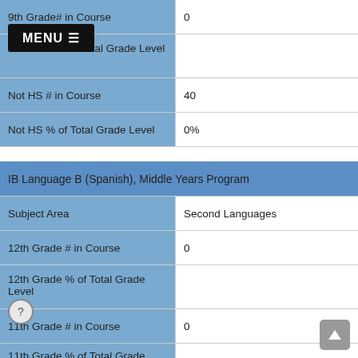| Field | Value |
| --- | --- |
| 9th Grade# in Course | 0 |
| 9th Grade% of Total Grade Level |  |
| Not HS # in Course | 40 |
| Not HS % of Total Grade Level | 0% |
IB Language B (Spanish), Middle Years Program
| Field | Value |
| --- | --- |
| Subject Area | Second Languages |
| 12th Grade # in Course | 0 |
| 12th Grade % of Total Grade Level |  |
| 11th Grade # in Course | 0 |
| 11th Grade % of Total Grade |  |